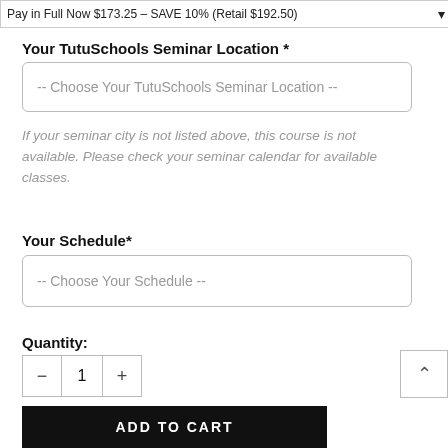Pay in Full Now $173.25 – SAVE 10% (Retail $192.50)
Your TutuSchools Seminar Location *
-- Choose Your TutuSchools Seminar Location --
If your seminar city is not listed above, this course is not available. Please check your seminar calendar for available classes.
Your Schedule*
-- Choose Your Schedule --
Quantity:
1
Subtotal:  $173.25
ADD TO CART